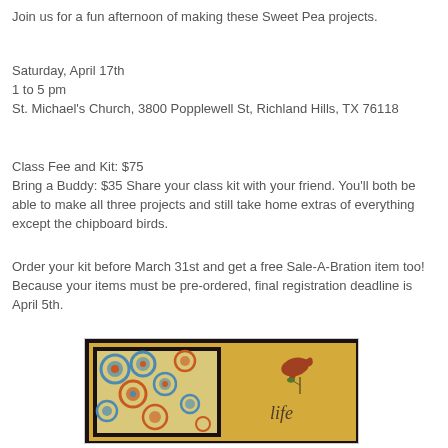Join us for a fun afternoon of making these Sweet Pea projects.
Saturday, April 17th
1 to 5 pm
St. Michael's Church, 3800 Popplewell St, Richland Hills, TX 76118
Class Fee and Kit: $75
Bring a Buddy: $35 Share your class kit with your friend. You'll both be able to make all three projects and still take home extras of everything except the chipboard birds.
Order your kit before March 31st and get a free Sale-A-Bration item too! Because your items must be pre-ordered, final registration deadline is April 5th.
[Figure (photo): A framed craft project showing a patterned paper with colorful circles on a dark background beside a yellow aged background with a bird illustration and the word 'life']